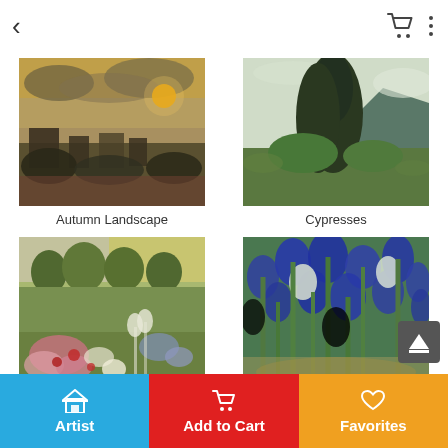< [back arrow] [cart icon] [menu icon]
[Figure (photo): Van Gogh painting: Autumn Landscape - dark trees and buildings under a golden cloudy sky]
Autumn Landscape
[Figure (photo): Van Gogh painting: Cypresses - tall dark cypress trees against a pale swirling sky with mountains]
Cypresses
[Figure (photo): Van Gogh painting: Daubigny's Garden - a lush garden with flowers, trees, and a building in background]
Daubigny's Garden
[Figure (photo): Van Gogh painting: Irises - dense blue iris flowers with green leaves against a green background]
Irises
Artist | Add to Cart | Favorites